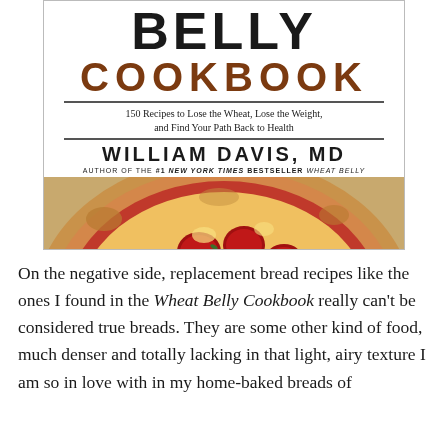[Figure (photo): Book cover of the Wheat Belly Cookbook by William Davis, MD. Shows the title 'BELLY COOKBOOK' in large letters, subtitle '150 Recipes to Lose the Wheat, Lose the Weight, and Find Your Path Back to Health', author name 'WILLIAM DAVIS, MD', byline 'AUTHOR OF THE #1 NEW YORK TIMES BESTSELLER WHEAT BELLY', and a photo of a pizza with pepperoni.]
On the negative side, replacement bread recipes like the ones I found in the Wheat Belly Cookbook really can't be considered true breads. They are some other kind of food, much denser and totally lacking in that light, airy texture I am so in love with in my home-baked breads of